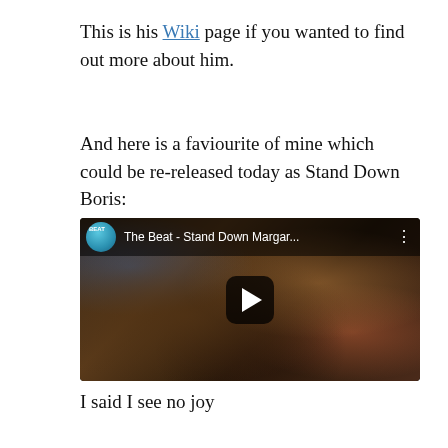This is his Wiki page if you wanted to find out more about him.
And here is a faviourite of mine which could be re-released today as Stand Down Boris:
[Figure (screenshot): YouTube video thumbnail showing a man singing into a microphone on a dark stage, with the video title 'The Beat - Stand Down Margar...' and a blue channel icon, and a play button overlay.]
I said I see no joy